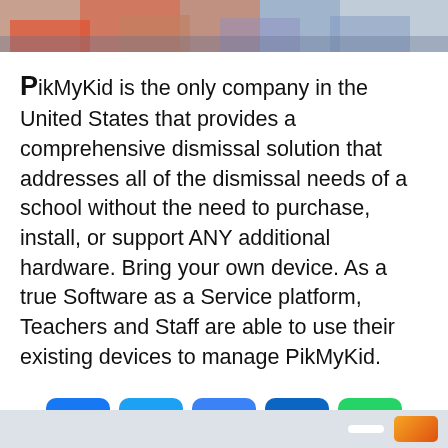[Figure (photo): Top strip showing partial photo of children/people, cropped at top of page]
PikMyKid is the only company in the United States that provides a comprehensive dismissal solution that addresses all of the dismissal needs of a school without the need to purchase, install, or support ANY additional hardware. Bring your own device. As a true Software as a Service platform, Teachers and Staff are able to use their existing devices to manage PikMyKid.
[Figure (infographic): Row of social media share buttons: Facebook, Twitter, Email, LinkedIn, WhatsApp; second row: Messenger, Plus/More button]